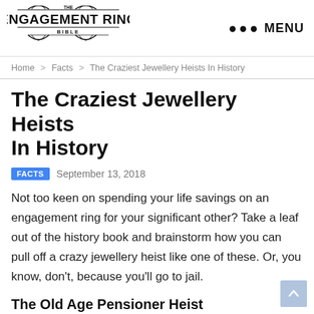The Engagement Ring Bible — MENU
Home > Facts > The Craziest Jewellery Heists In History
The Craziest Jewellery Heists In History
FACTS  September 13, 2018
Not too keen on spending your life savings on an engagement ring for your significant other? Take a leaf out of the history book and brainstorm how you can pull off a crazy jewellery heist like one of these. Or, you know, don't, because you'll go to jail.
The Old Age Pensioner Heist